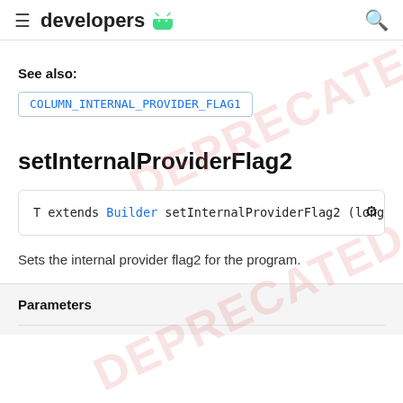developers
See also:
COLUMN_INTERNAL_PROVIDER_FLAG1
setInternalProviderFlag2
T extends Builder setInternalProviderFlag2 (long fla
Sets the internal provider flag2 for the program.
| Parameters |
| --- |